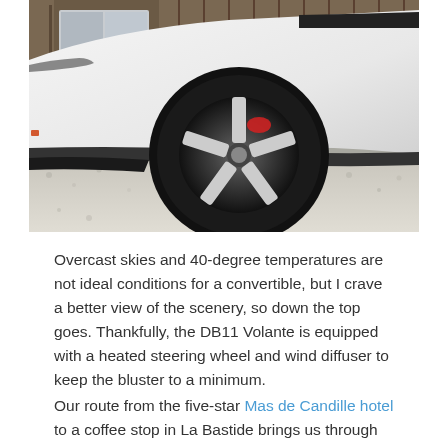[Figure (photo): Close-up photo of a white sports car (Aston Martin DB11 Volante) showing the front wheel and wheel arch. The car has a distinctive multi-spoke alloy wheel with red brake calipers visible, and is parked on a gravel surface with a building/fence in the background.]
Overcast skies and 40-degree temperatures are not ideal conditions for a convertible, but I crave a better view of the scenery, so down the top goes. Thankfully, the DB11 Volante is equipped with a heated steering wheel and wind diffuser to keep the bluster to a minimum.
Our route from the five-star Mas de Candille hotel to a coffee stop in La Bastide brings us through the